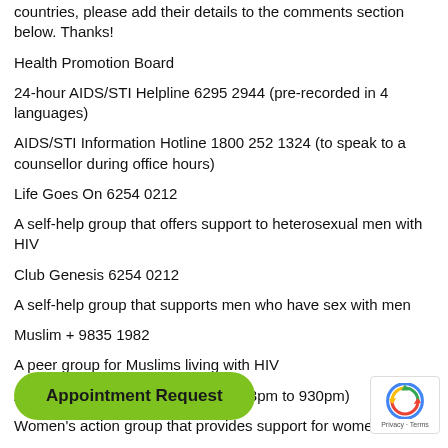countries, please add their details to the comments section below. Thanks!
Health Promotion Board
24-hour AIDS/STI Helpline 6295 2944 (pre-recorded in 4 languages)
AIDS/STI Information Hotline 1800 252 1324 (to speak to a counsellor during office hours)
Life Goes On 6254 0212
A self-help group that offers support to heterosexual men with HIV
Club Genesis 6254 0212
A self-help group that supports men who have sex with men
Muslim + 9835 1982
A peer group for Muslims living with HIV
AWARE 1800 774 5935 (Mon – Fri 3pm to 930pm)
Women's action group that provides support for women
Oogachaga – 6224 9373